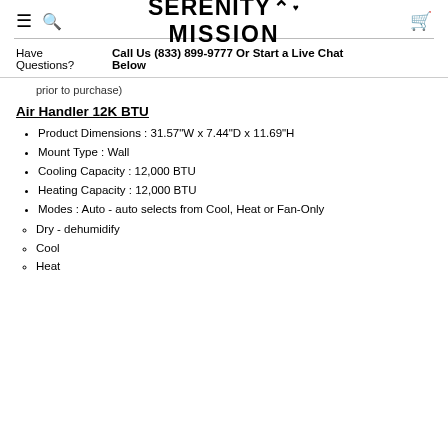Serenity Mission - navigation header with hamburger menu, search icon, logo, and cart icon
Have Questions? Call Us (833) 899-9777 Or Start a Live Chat Below
prior to purchase)
Air Handler 12K BTU
Product Dimensions : 31.57"W x 7.44"D x 11.69"H
Mount Type : Wall
Cooling Capacity : 12,000 BTU
Heating Capacity : 12,000 BTU
Modes : Auto - auto selects from Cool, Heat or Fan-Only
Dry - dehumidify
Cool
Heat